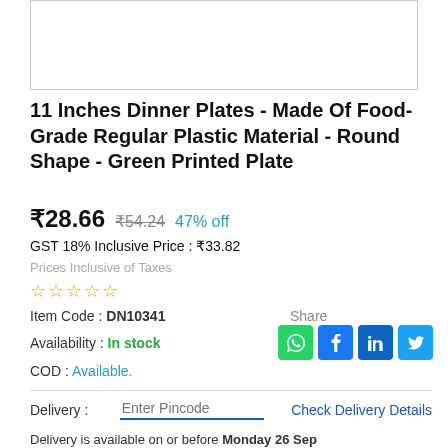[Figure (photo): Product image placeholder (white box with border)]
11 Inches Dinner Plates - Made Of Food-Grade Regular Plastic Material - Round Shape - Green Printed Plate
₹28.66  ₹54.24  47% off
GST 18% Inclusive Price : ₹33.82
Prices Inclusive of Taxes
[Figure (other): Star rating row — 5 empty/outline stars in yellow/gold]
Item Code : DN10341
Share
Availability : In stock
[Figure (other): Social share icons: WhatsApp (green), Facebook (blue), LinkedIn (blue), Twitter (blue), more (grey)]
COD : Available.
Delivery : Enter Pincode    Check Delivery Details
Delivery is available on or before Monday 26 Sep